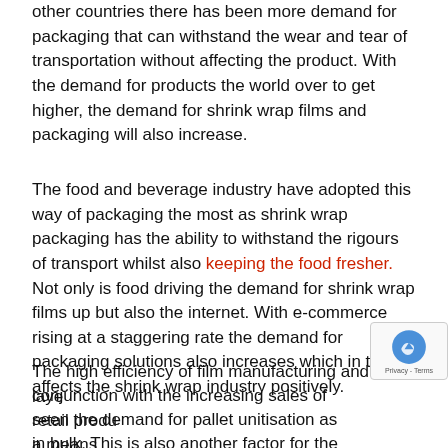other countries there has been more demand for packaging that can withstand the wear and tear of transportation without affecting the product. With the demand for products the world over to get higher, the demand for shrink wrap films and packaging will also increase.
The food and beverage industry have adopted this way of packaging the most as shrink wrap packaging has the ability to withstand the rigours of transport whilst also keeping the food fresher. Not only is food driving the demand for shrink wrap films up but also the internet. With e-commerce rising at a staggering rate the demand for packaging solutions also increases which in turn affects the shrink wrap industry positively.
The high efficiency of film manufacturing and layer... conjunction with the increasing sales of retail produ... seen the demand for pallet unitisation as a means... in bulk. This is also another factor for the increased...